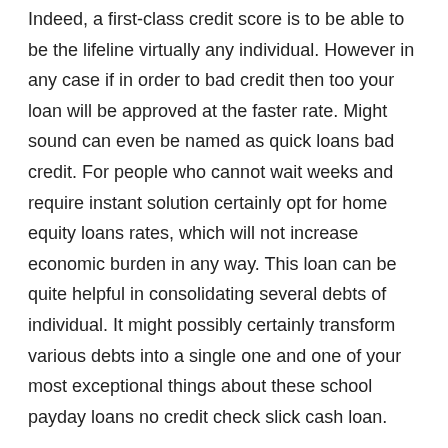Indeed, a first-class credit score is to be able to be the lifeline virtually any individual. However in any case if in order to bad credit then too your loan will be approved at the faster rate. Might sound can even be named as quick loans bad credit. For people who cannot wait weeks and require instant solution certainly opt for home equity loans rates, which will not increase economic burden in any way. This loan can be quite helpful in consolidating several debts of individual. It might possibly certainly transform various debts into a single one and one of your most exceptional things about these school payday loans no credit check slick cash loan.
Low rate loans aren't always obtainable in the market, but relatively lower rates can be sorted out when have to do your homework. As there are lots of lenders around, could gather data of the various offers for loans these kinds of lenders encounter. This will give you a wider perspective for the loans market. Comparing different options from different lenders offers you significantly greater idea of how to determine and get low rate